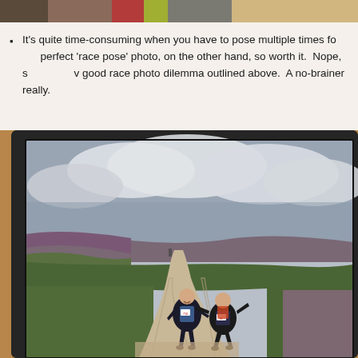[Figure (photo): Cropped top strip of a photo showing people at a race event, partially visible at top of page]
It's quite time-consuming when you have to pose multiple times for the perfect 'race pose' photo, on the other hand, so worth it.  Nope, s... v good race photo dilemma outlined above.  A no-brainer really.
[Figure (photo): Two women runners running joyfully along a dirt trail path through moorland with heather and green shrubs, cloudy sky above. One runner wears race number 756.]